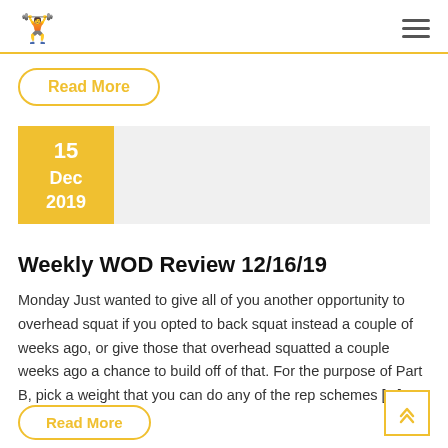[Logo and hamburger menu]
Read More
[Figure (other): Date badge showing 15 Dec 2019 on a yellow square with gray background bar]
Weekly WOD Review 12/16/19
Monday Just wanted to give all of you another opportunity to overhead squat if you opted to back squat instead a couple of weeks ago, or give those that overhead squatted a couple weeks ago a chance to build off of that. For the purpose of Part B, pick a weight that you can do any of the rep schemes [...]